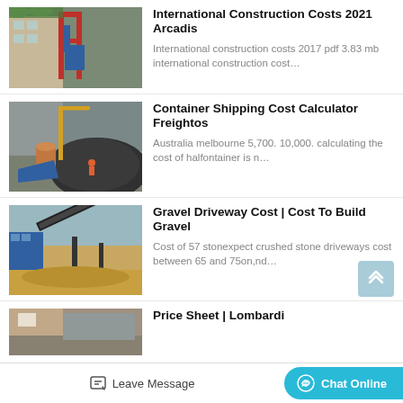[Figure (photo): Industrial construction/mining equipment with red and blue metal structures]
International Construction Costs 2021 Arcadis
International construction costs 2017 pdf 3.83 mb international construction cost…
[Figure (photo): Heavy machinery at a gravel/stone quarry site with crane]
Container Shipping Cost Calculator Freightos
Australia melbourne 5,700. 10,000. calculating the cost of halfontainer is n…
[Figure (photo): Blue industrial conveyor and gravel processing equipment]
Gravel Driveway Cost | Cost To Build Gravel
Cost of 57 stonexpect crushed stone driveways cost between 65 and 75on,nd…
[Figure (photo): Industrial processing plant partially visible]
Price Sheet | Lombardi